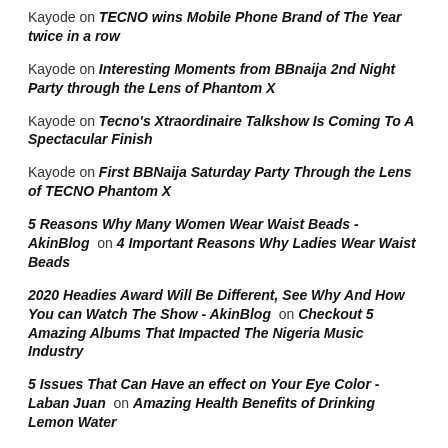Kayode on TECNO wins Mobile Phone Brand of The Year twice in a row
Kayode on Interesting Moments from BBnaija 2nd Night Party through the Lens of Phantom X
Kayode on Tecno's Xtraordinaire Talkshow Is Coming To A Spectacular Finish
Kayode on First BBNaija Saturday Party Through the Lens of TECNO Phantom X
5 Reasons Why Many Women Wear Waist Beads - AkinBlog on 4 Important Reasons Why Ladies Wear Waist Beads
2020 Headies Award Will Be Different, See Why And How You can Watch The Show - AkinBlog on Checkout 5 Amazing Albums That Impacted The Nigeria Music Industry
5 Issues That Can Have an effect on Your Eye Color - Laban Juan on Amazing Health Benefits of Drinking Lemon Water
5 Things That Can Affect Your Eye Colour - AkinBlog on Amazing Health Benefits of Drinking Lemon Water